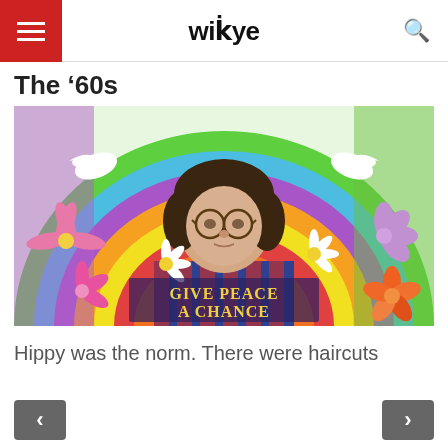wikye
The ’60s
[Figure (illustration): Psychedelic 1960s illustration featuring a portrait resembling John Lennon with round glasses, surrounded by colorful rainbow arcs in green, blue, purple, orange, yellow, and red. White doves fly in the upper corners. Various flowers (pink lily, white daisies, purple dahlia, pink chrysanthemum, orange rose) surround the portrait. Text on the image reads 'GIVE PEACE A CHANCE' in decorative yellow letters.]
Hippy was the norm. There were haircuts